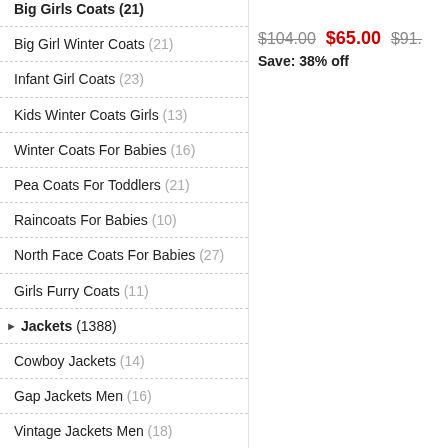Big Girls Coats (21)
Big Girl Winter Coats (21)
Infant Girl Coats (23)
Kids Winter Coats Girls (13)
Winter Coats For Babies (16)
Pea Coats For Toddlers (21)
Raincoats For Babies (10)
North Face Coats For Babies (27)
Girls Furry Coats (11)
Jackets (1388)
Cowboy Jackets (14)
Gap Jackets Men (16)
Vintage Jackets Men (18)
Streetwear Jackets (15)
Men'S Running Jackets (17)
Mens Leather Motorcycle Jackets (21)
$104.00  $65.00  $91.  Save: 38% off